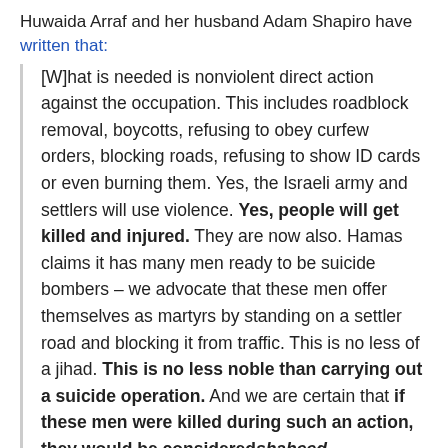Huwaida Arraf and her husband Adam Shapiro have written that:
[W]hat is needed is nonviolent direct action against the occupation. This includes roadblock removal, boycotts, refusing to obey curfew orders, blocking roads, refusing to show ID cards or even burning them. Yes, the Israeli army and settlers will use violence. Yes, people will get killed and injured. They are now also. Hamas claims it has many men ready to be suicide bombers – we advocate that these men offer themselves as martyrs by standing on a settler road and blocking it from traffic. This is no less of a jihad. This is no less noble than carrying out a suicide operation. And we are certain that if these men were killed during such an action, they would be consideredshaheed